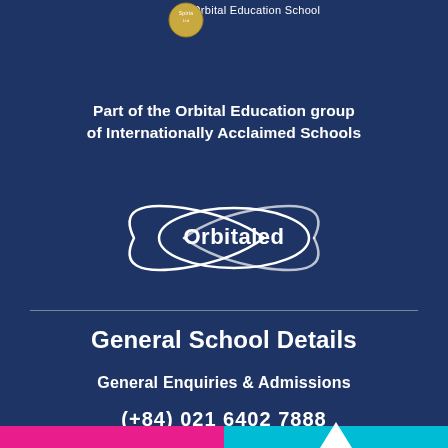an Orbital Education School
Part of the Orbital Education group of Internationally Acclaimed Schools
[Figure (logo): Orbitaled oval logo with white ellipse outline and white text reading 'Orbitaled' on dark blue background]
General School Details
General Enquiries & Admissions
(+84) 021 6402 7888